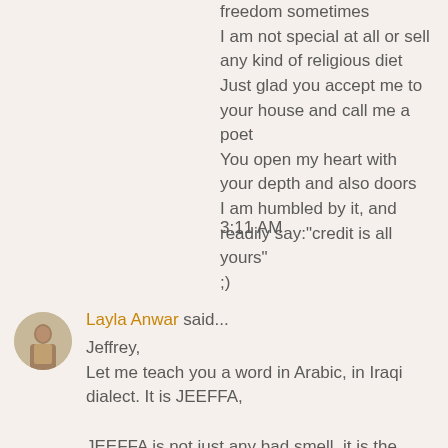freedom sometimes
I am not special at all or sell any kind of religious diet
Just glad you accept me to your house and call me a poet
You open my heart with your depth and also doors
I am humbled by it, and readily say:"credit is all yours"
;)
3:11 AM
Layla Anwar said...

Jeffrey,
Let me teach you a word in Arabic, in Iraqi dialect. It is JEEFFA,

JEEFFA is not just any bad smell, it is the smell of putrid rotten, decomposing, degraded matter...

You are JEEFFA ya Jeffrey.